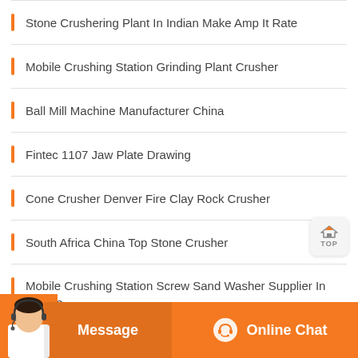Stone Crushering Plant In Indian Make Amp It Rate
Mobile Crushing Station Grinding Plant Crusher
Ball Mill Machine Manufacturer China
Fintec 1107 Jaw Plate Drawing
Cone Crusher Denver Fire Clay Rock Crusher
South Africa China Top Stone Crusher
Mobile Crushing Station Screw Sand Washer Supplier In France
[Figure (other): Navigation 'TOP' button with house/arrow icon]
[Figure (other): Bottom bar with customer service agent photo, Message button, and Online Chat button]